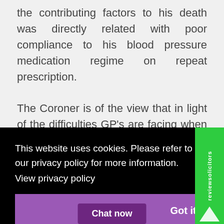the contributing factors to his death was directly related with poor compliance to his blood pressure medication regime on repeat prescription.
The Coroner is of the view that in light of the difficulties GP's are facing when using the prescription module and the evidence given by
[Figure (screenshot): Cookie consent overlay with black background, text reading 'This website uses cookies. Please refer to our privacy policy for more information.' with 'View privacy policy' link and a purple 'Got it!' button. A 'Chat now' button is partially visible at the bottom.]
[Figure (logo): ReviewSolicitors green sidebar badge with white text and checkmark logo]
prescribed, the                    ined that so